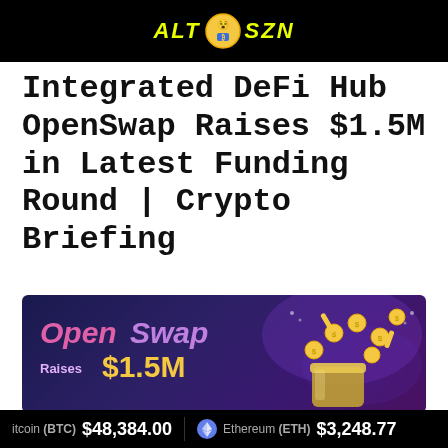ALT SZN
Integrated DeFi Hub OpenSwap Raises $1.5M in Latest Funding Round | Crypto Briefing
[Figure (illustration): OpenSwap promotional banner with dark purple/blue background showing OpenSwap logo in pink, 'Raises $1.5M' in yellow text, and animated gold coins falling into a jar on the right side]
Bitcoin (BTC) $48,384.00   Ethereum (ETH) $3,248.77